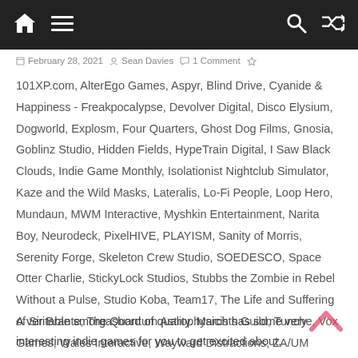Navigation bar with home, menu, search, and shuffle icons
February 28, 2021  Sean Davies  1 Comment
101XP.com, AlterEgo Games, Aspyr, Blind Drive, Cyanide & Happiness - Freakpocalypse, Devolver Digital, Disco Elysium, Dogworld, Explosm, Four Quarters, Ghost Dog Films, Gnosia, Goblinz Studio, Hidden Fields, HypeTrain Digital, I Saw Black Clouds, Indie Game Monthly, Isolationist Nightclub Simulator, Kaze and the Wild Masks, Lateralis, Lo-Fi People, Loop Hero, Mundaun, MWM Interactive, Myshkin Entertainment, Narita Boy, Neurodeck, PixelHIVE, PLAYISM, Sanity of Morris, Serenity Forge, Skeleton Crew Studio, SOEDESCO, Space Otter Charlie, StickyLock Studios, Stubbs the Zombie in Rebel Without a Pulse, Studio Koba, Team17, The Life and Suffering of Sir Brante, The Quantum Astrophysicists Guild, Tunche, Vox Games, Wales Interactive, Wayward Distractions, ZA/UM
A veritable smorgasbord of quality. March has some very interesting indie games for you to get excited about.